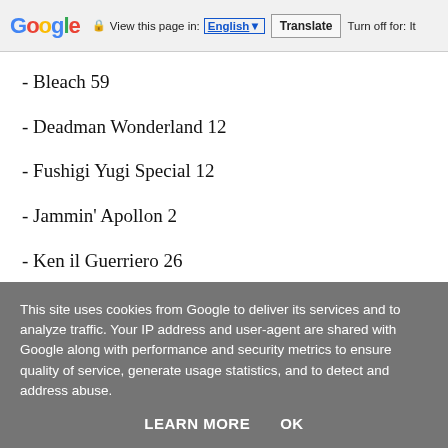Google | View this page in: English | Translate | Turn off for: It
- Bleach 59
- Deadman Wonderland 12
- Fushigi Yugi Special 12
- Jammin' Apollon 2
- Ken il Guerriero 26
- Kira Kira 100% 7
- Naruto il Mito 55
This site uses cookies from Google to deliver its services and to analyze traffic. Your IP address and user-agent are shared with Google along with performance and security metrics to ensure quality of service, generate usage statistics, and to detect and address abuse.
LEARN MORE    OK